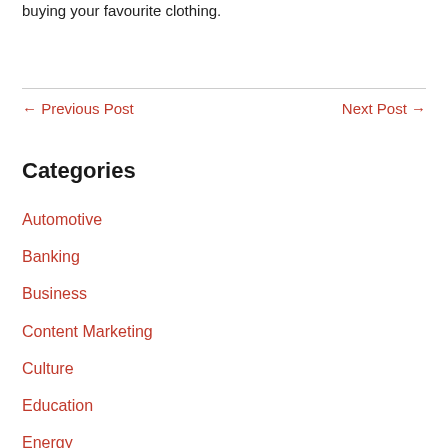buying your favourite clothing.
← Previous Post    Next Post →
Categories
Automotive
Banking
Business
Content Marketing
Culture
Education
Energy